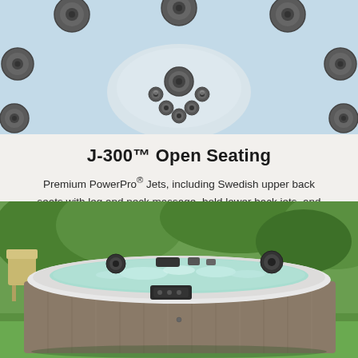[Figure (photo): Close-up top-down view of a hot tub interior showing multiple jets in white acrylic basin with chrome jet fittings]
J-300™ Open Seating
Premium PowerPro® Jets, including Swedish upper back seats with leg and neck massage, bold lower back jets, and more deep tissue jets with back of thigh coverage throughout.
[Figure (photo): Outdoor hot tub with wood-grain siding cabinet and bubbling green-tinted water, placed on lawn with trees in background]